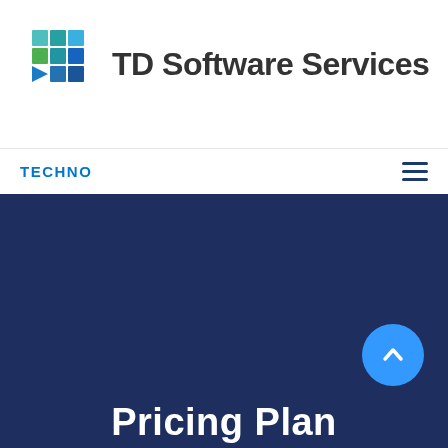[Figure (logo): TD Software Services logo with colorful grid icon and company name]
TECHNO
Pricing Plan